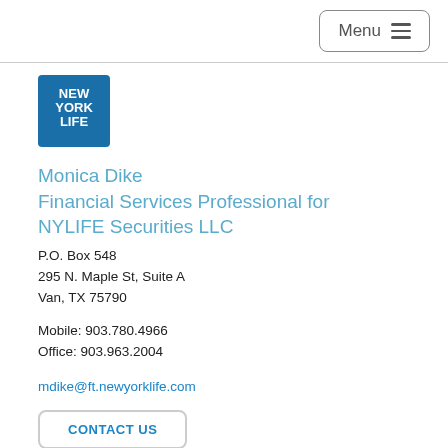Menu
[Figure (logo): New York Life logo — blue square with white text NEW YORK LIFE]
Monica Dike
Financial Services Professional for NYLIFE Securities LLC
P.O. Box 548
295 N. Maple St, Suite A
Van, TX 75790
Mobile: 903.780.4966
Office: 903.963.2004
mdike@ft.newyorklife.com
CONTACT US
[Figure (illustration): Social media icons: Twitter (blue bird), Facebook (blue f), LinkedIn (blue in)]